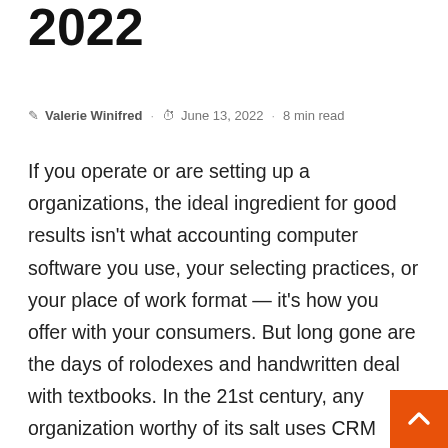2022
✎ Valerie Winifred · ⏱ June 13, 2022 · 8 min read
If you operate or are setting up a organizations, the ideal ingredient for good results isn't what accounting computer software you use, your selecting practices, or your place of work format — it's how you offer with your consumers. But long gone are the days of rolodexes and handwritten deal with textbooks. In the 21st century, any organization worthy of its salt uses CRM computer software. CRM, or shopper relations managing, is a broad expression that handles fairly a great deal just about anything your company do hook up with consumers. This includes things like managing client speak to information and facts,